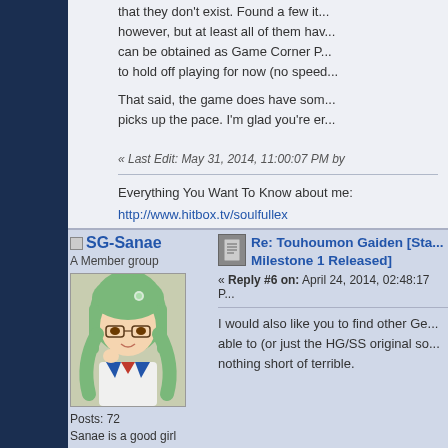however, but at least all of them hav... can be obtained as Game Corner P... to hold off playing for now (no speed...
That said, the game does have som... picks up the pace. I'm glad you're er...
« Last Edit: May 31, 2014, 11:00:07 PM by
Everything You Want To Know about me:
http://www.hitbox.tv/soulfullex
https://www.youtube.com/user/SoulfulLex
https://twitter.com/SoulfulLex
SG-Sanae
A Member group
[Figure (illustration): Anime-style avatar of a girl with green hair and glasses]
Posts: 72
Sanae is a good girl
Re: Touhoumon Gaiden [Sta... Milestone 1 Released]
« Reply #6 on: April 24, 2014, 02:48:17 P...
I would also like you to find other Ge... able to (or just the HG/SS original so... nothing short of terrible.